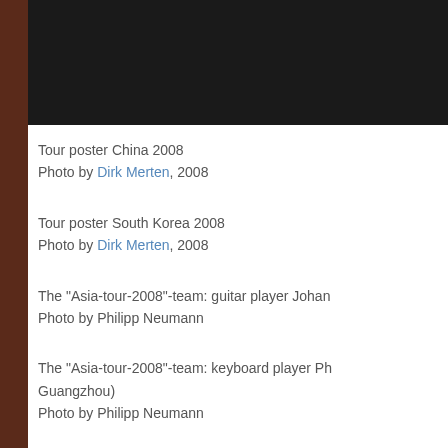[Figure (photo): Dark image strip showing tour poster, partially visible at top of page]
Tour poster China 2008
Photo by Dirk Merten, 2008
Tour poster South Korea 2008
Photo by Dirk Merten, 2008
The "Asia-tour-2008"-team: guitar player Johan...
Photo by Philipp Neumann
The "Asia-tour-2008"-team: keyboard player Ph... Guangzhou)
Photo by Philipp Neumann